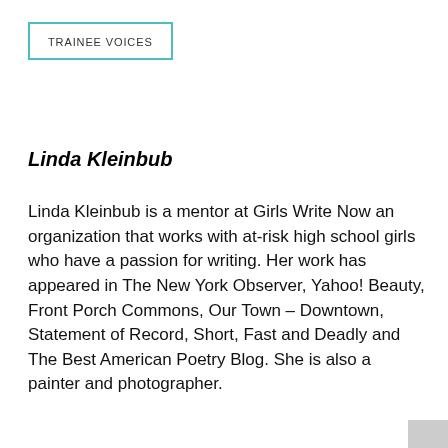TRAINEE VOICES
Linda Kleinbub
Linda Kleinbub is a mentor at Girls Write Now an organization that works with at-risk high school girls who have a passion for writing. Her work has appeared in The New York Observer, Yahoo! Beauty, Front Porch Commons, Our Town – Downtown, Statement of Record, Short, Fast and Deadly and The Best American Poetry Blog. She is also a painter and photographer.